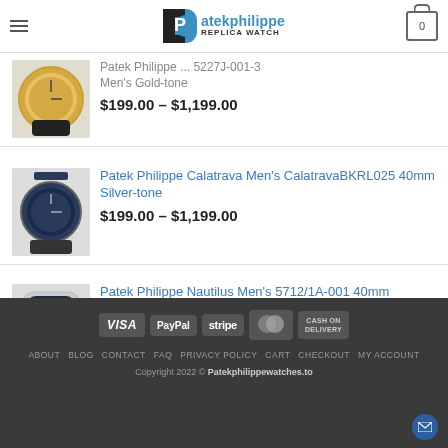atekphilippe REPLICA WATCH
Patek Philippe ... 5227J-001-3 Men's Gold-tone
$199.00 – $1,199.00
Patek Philippe Calatrava Men's CalatravaBKRL025 40mm Silver-tone
$199.00 – $1,199.00
Patek Philippe Nautilus Men's 5712/1A-001 40mm Automatic
$299.00 – $1,599.00
VISA PayPal stripe MasterCard CASH ON DELIVERY | ABOUT BLOG CONTACT FAQ PRIVACY POLICY CART CHECKOUT MY ACCOUNT | Copyright 2022 © Patekphilippewatches.to